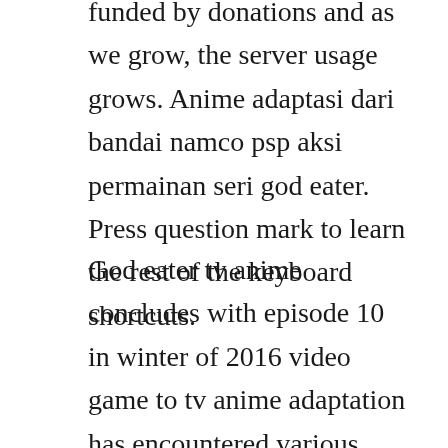funded by donations and as we grow, the server usage grows. Anime adaptasi dari bandai namco psp aksi permainan seri god eater. Press question mark to learn the rest of the keyboard shortcuts.
God eater tv anime concludes with episode 10 in winter of 2016 video game to tv anime adaptation has encountered various delays during its release. Published on mar 5, 2016 god eater episode 10 is finally here after a very long hiatus from studio ufotable. As the episode ends, sakaki finishes restoring lenkas